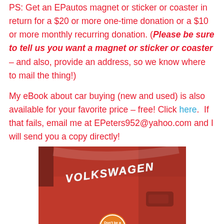PS: Get an EPautos magnet or sticker or coaster in return for a $20 or more one-time donation or a $10 or more monthly recurring donation. (Please be sure to tell us you want a magnet or sticker or coaster – and also, provide an address, so we know where to mail the thing!)
My eBook about car buying (new and used) is also available for your favorite price – free! Click here.  If that fails, email me at EPeters952@yahoo.com and I will send you a copy directly!
[Figure (photo): Close-up photo of a red Volkswagen car hood showing the VOLKSWAGEN chrome lettering badge and a circular sticker that reads 'Don't be a' with a panda-like icon.]